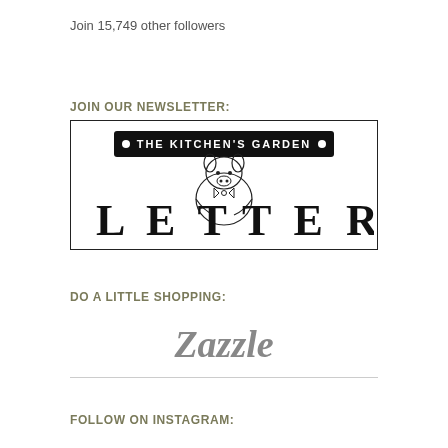Join 15,749 other followers
JOIN OUR NEWSLETTER:
[Figure (logo): The Kitchen's Garden Letter logo — a rectangular bordered box with 'THE KITCHEN'S GARDEN' in a black banner at top and 'LETTER' in large serif letters below, with an illustrated pig mascot overlapping in the center]
DO A LITTLE SHOPPING:
[Figure (logo): Zazzle logo in large italic bold gray serif font inside a box with a bottom border]
FOLLOW ON INSTAGRAM: